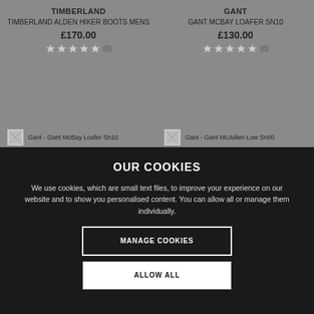TIMBERLAND
TIMBERLAND ALDEN HIKER BOOTS MENS
£170.00
(0)
GANT
GANT MCBAY LOAFER SN10
£130.00
(0)
Gant - Gant McBay Loafer Sn10
Gant - Gant McJulien Low Sn00
OUR COOKIES
We use cookies, which are small text files, to improve your experience on our website and to show you personalised content. You can allow all or manage them individually.
MANAGE COOKIES
ALLOW ALL